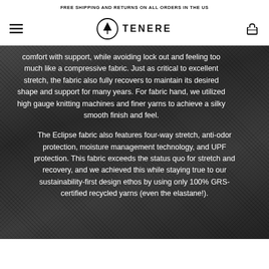FREE SHIPPING AND RETURNS ON ALL ORDERS IN THE US
[Figure (logo): Tenere brand logo with tree icon in circle and TENERE text, hamburger menu and shopping bag icon]
comfort with support, while avoiding lock out and feeling too much like a compressive fabric. Just as critical to excellent stretch, the fabric also fully recovers to maintain its desired shape and support for many years. For fabric hand, we utilized high gauge knitting machines and finer yarns to achieve a silky smooth finish and feel.
The Eclipse fabric also features four-way stretch, anti-odor protection, moisture management technology, and UPF protection. This fabric exceeds the status quo for stretch and recovery, and we achieved this while staying true to our sustainability-first design ethos by using only 100% GRS-certified recycled yarns (even the elastane!).